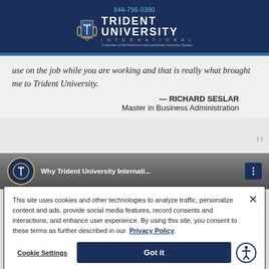844-796-0390
TRIDENT UNIVERSITY INTERNATIONAL
A member of the American InterContinental University System
use on the job while you are working and that is really what brought me to Trident University.
— RICHARD SESLAR
Master in Business Administration
[Figure (screenshot): Video thumbnail showing Trident University International logo and title 'Why Trident University Internati...']
This site uses cookies and other technologies to analyze traffic, personalize content and ads, provide social media features, record consents and interactions, and enhance user experience. By using this site, you consent to these terms as further described in our Privacy Policy.
Cookie Settings
Got it